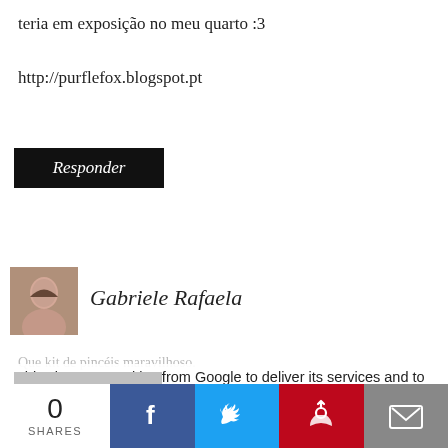teria em exposição no meu quarto :3
http://purflefox.blogspot.pt
Responder
[Figure (photo): Small avatar photo of a person]
Gabriele Rafaela
Que kit de pincéis maravilhoso.
This site uses cookies from Google to deliver its services and to analyze traffic. Your IP address and user-agent are shared with Google along with performance and security metrics to ensure quality of service, generate usage statistics, and to detect and address abuse.
Responder
0
SHARES